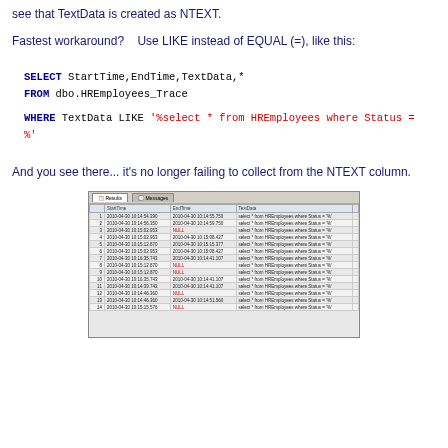see that TextData is created as NTEXT.
Fastest workaround?   Use LIKE instead of EQUAL (=), like this:
SELECT StartTime,EndTime,TextData,*
FROM dbo.HREmployees_Trace

WHERE TextData LIKE '%select * from HREmployees where Status = %'
And you see there... it's no longer failing to collect from the NTEXT column.
[Figure (screenshot): SQL Server Management Studio query results grid showing rows with StartTime, EndTime, and TextData columns. TextData contains 'select * from HREmployees where Status = %'. Some EndTime values show NULL in red.]